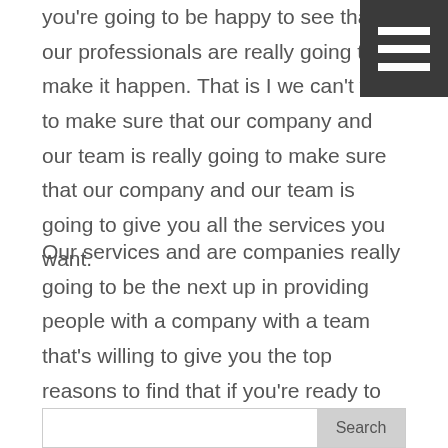[Figure (other): Hamburger menu icon: three horizontal white bars on dark gray background, positioned top-right corner]
you're going to be happy to see that our professionals are really going to make it happen. That is I we can't wait to make sure that our company and our team is really going to make sure that our company and our team is going to give you all the services you want.
Our services and are companies really going to be the next up in providing people with a company with a team that's willing to give you the top reasons to find that if you're ready to give us a call that you can do so today at 425-615-5000 as well as being able to go on our website today@OutToday.com.